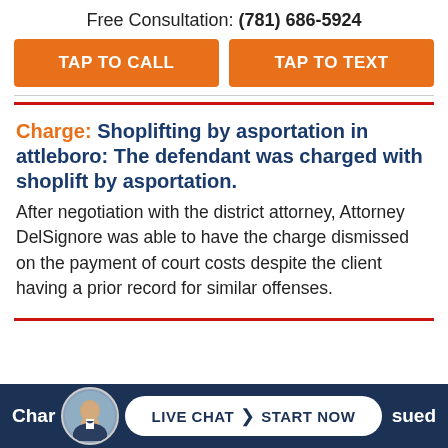Free Consultation: (781) 686-5924
TAP TO CALL
TAP TO TEXT
Charge: Shoplifting by asportation in attleboro: The defendant was charged with shoplift by asportation.
After negotiation with the district attorney, Attorney DelSignore was able to have the charge dismissed on the payment of court costs despite the client having a prior record for similar offenses.
Char...sa...sued
LIVE CHAT > START NOW